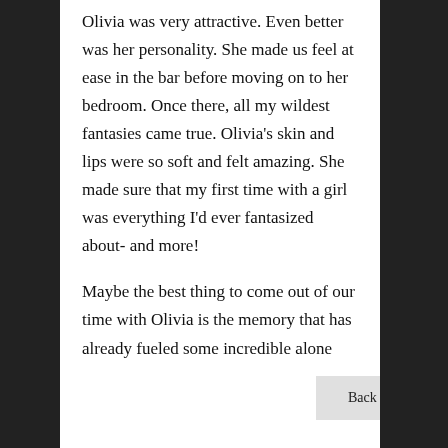Olivia was very attractive. Even better was her personality. She made us feel at ease in the bar before moving on to her bedroom. Once there, all my wildest fantasies came true. Olivia's skin and lips were so soft and felt amazing. She made sure that my first time with a girl was everything I'd ever fantasized about- and more!
Maybe the best thing to come out of our time with Olivia is the memory that has already fueled some incredible alone